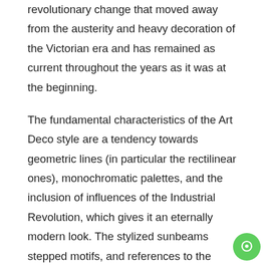revolutionary change that moved away from the austerity and heavy decoration of the Victorian era and has remained as current throughout the years as it was at the beginning.
The fundamental characteristics of the Art Deco style are a tendency towards geometric lines (in particular the rectilinear ones), monochromatic palettes, and the inclusion of influences of the Industrial Revolution, which gives it an eternally modern look. The stylized sunbeams stepped motifs, and references to the cultures of Africa, Russia, and Egypt are common indicators.
Thus here we come to an end with our first part of 'The